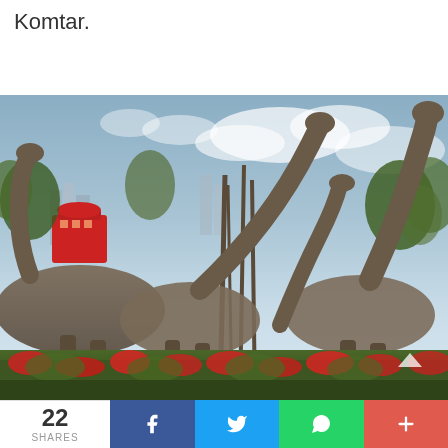Komtar.
[Figure (photo): Outdoor dinosaur statues/sculptures (large sauropod dinosaurs) among tropical plants, red flowers, and palm trees, with a red building and city skyline visible in the background. A group of several long-necked dinosaur models in a park setting near Komtar.]
22 SHARES  [Facebook share] [Twitter share] [WhatsApp share] [More share]